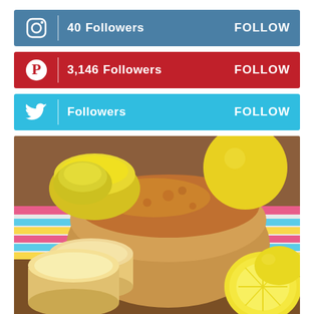[Figure (infographic): Instagram social bar with camera icon, '40 Followers' text and 'FOLLOW' button on steel blue background]
[Figure (infographic): Pinterest social bar with P icon, '3,146 Followers' text and 'FOLLOW' button on red background]
[Figure (infographic): Twitter social bar with bird icon, 'Followers' text and 'FOLLOW' button on sky blue background]
[Figure (photo): Photo of sliced lemon loaf bread on wooden board with yellow ceramic bowls and fresh lemons on colorful striped fabric]